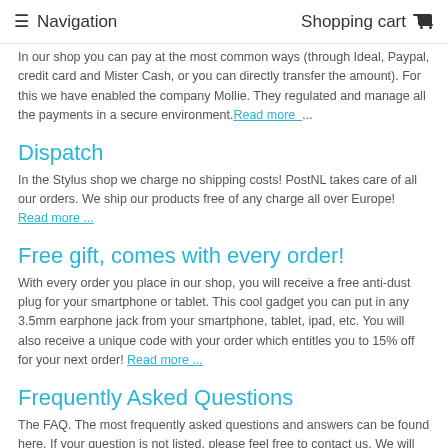≡ Navigation   Shopping cart 🛒
In our shop you can pay at the most common ways (through Ideal, Paypal, credit card and Mister Cash, or you can directly transfer the amount). For this we have enabled the company Mollie. They regulated and manage all the payments in a secure environment. Read more  ...
Dispatch
In the Stylus shop we charge no shipping costs! PostNL takes care of all our orders. We ship our products free of any charge all over Europe!  Read more ...
Free gift, comes with every order!
With every order you place in our shop, you will receive a free anti-dust plug for your smartphone or tablet. This cool gadget you can put in any 3.5mm earphone jack from your smartphone, tablet, ipad, etc. You will also receive a unique code with your order which entitles you to 15% off for your next order! Read more ...
Frequently Asked Questions
The FAQ. The most frequently asked questions and answers can be found here. If your question is not listed, please feel free to contact us. We will